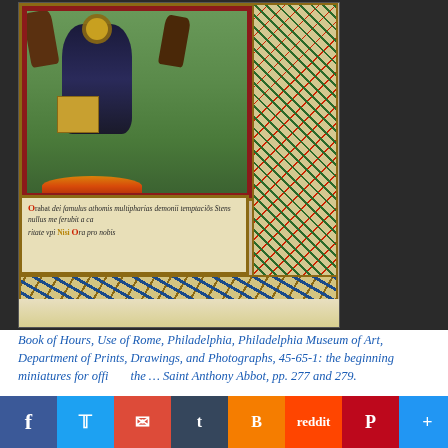[Figure (photo): Photograph of an illuminated manuscript page from a Book of Hours, showing a miniature painting of a saint (Saint Anthony Abbot) surrounded by demons, with ornate floral and vine border decoration in blue, red, green, and gold. Below the miniature is a text block in Gothic script on parchment.]
Book of Hours, Use of Rome, Philadelphia, Philadelphia Museum of Art, Department of Prints, Drawings, and Photographs, 45-65-1: the beginning miniatures for office of … Saint Anthony Abbot, pp. 277 and 279.